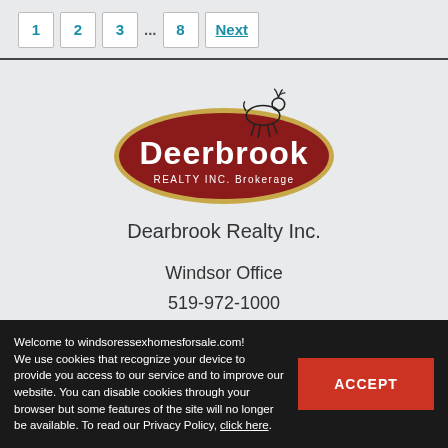1 2 3 ... 8 Next
[Figure (logo): Deerbrook Realty Inc. Brokerage logo — dark red oval with gold border, white text 'Deerbrook' and 'REALTY INC. Brokerage', with a jumping deer silhouette above]
Dearbrook Realty Inc.
Windsor Office
519-972-1000
59 Eugenie St. E
Windsor, ON N8X 2X9
Welcome to windsoressexhomesforsale.com! We use cookies that recognize your device to provide you access to our service and to improve our website. You can disable cookies through your browser but some features of the site will no longer be available. To read our Privacy Policy, click here.